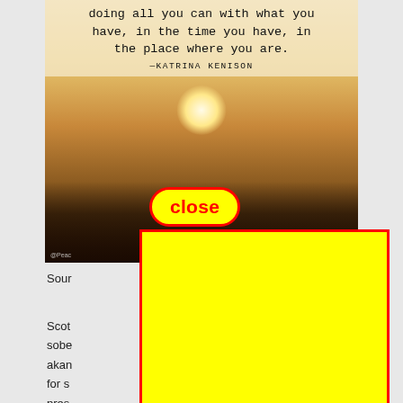[Figure (photo): A motivational quote image over a sunset landscape with two silhouetted figures on a hill. Quote reads: 'doing all you can with what you have, in the time you have, in the place where you are.' —KATRINA KENISON. A red-bordered yellow 'close' button overlays the image.]
Sour
Scot...y be sobe...akan...ent for s...our pres...well